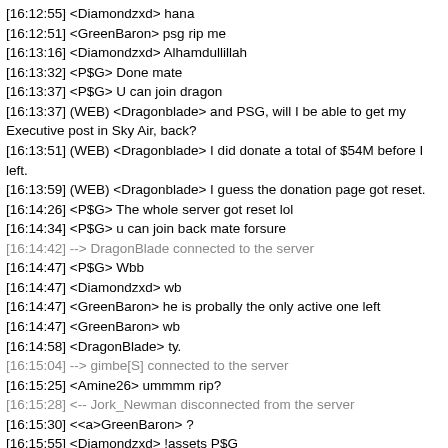[16:12:55] <Diamondzxd> hana
[16:12:51] <GreenBaron> psg rip me
[16:13:16] <Diamondzxd> Alhamdullillah
[16:13:32] <P$G> Done mate
[16:13:37] <P$G> U can join dragon
[16:13:37] (WEB) <Dragonblade> and PSG, will I be able to get my Executive post in Sky Air, back?
[16:13:51] (WEB) <Dragonblade> I did donate a total of $54M before I left.
[16:13:59] (WEB) <Dragonblade> I guess the donation page got reset.
[16:14:26] <P$G> The whole server got reset lol
[16:14:34] <P$G> u can join back mate forsure
[16:14:42] --> DragonBlade connected to the server
[16:14:47] <P$G> Wbb
[16:14:47] <Diamondzxd> wb
[16:14:47] <GreenBaron> he is probally the only active one left
[16:14:47] <GreenBaron> wb
[16:14:58] <DragonBlade> ty.
[16:15:04] --> gimbe[S] connected to the server
[16:15:25] <Amine26> ummmm rip?
[16:15:28] <-- Jork_Newman disconnected from the server
[16:15:30] <<a>GreenBaron> ?
[16:15:55] <Diamondzxd> !assets P$G
[16:15:58] (WEB) <robin_be> P$G has 1 car(s) ($225,000) and 0 house(s) ($0 - 0 slots) for a total of $225,000